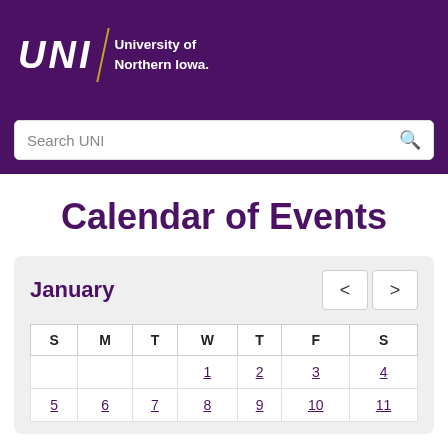UNI University of Northern Iowa
Search UNI
Calendar of Events
| S | M | T | W | T | F | S |
| --- | --- | --- | --- | --- | --- | --- |
|  |  |  | 1 | 2 | 3 | 4 |
| 5 | 6 | 7 | 8 | 9 | 10 | 11 |